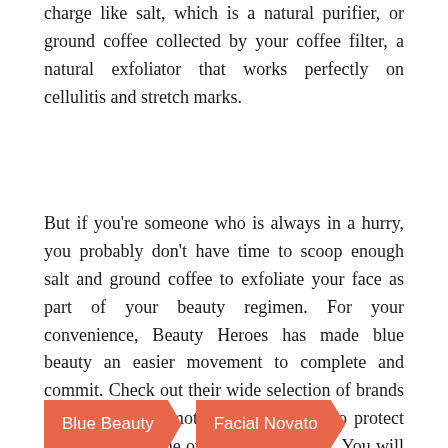charge like salt, which is a natural purifier, or ground coffee collected by your coffee filter, a natural exfoliator that works perfectly on cellulitis and stretch marks.
But if you're someone who is always in a hurry, you probably don't have time to scoop enough salt and ground coffee to exfoliate your face as part of your beauty regimen. For your convenience, Beauty Heroes has made blue beauty an easier movement to complete and commit. Check out their wide selection of brands and products promoting another color to protect our oceans and the overall environment. You will also get a gift for every $125 purchase you make.
Blue Beauty
Facial Novato